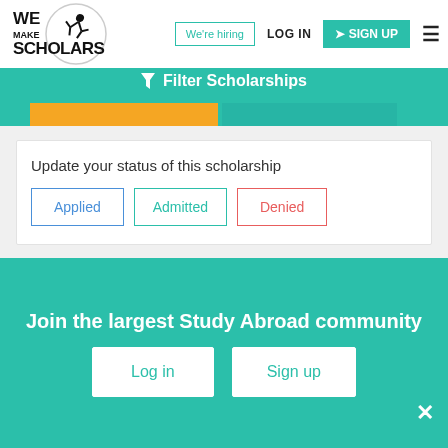[Figure (logo): We Make Scholars logo with acrobat figure and circle]
We're hiring | LOG IN | SIGN UP
Filter Scholarships
Update your status of this scholarship
Applied
Admitted
Denied
[Figure (logo): NATA logo on blue background]
Expires in 129 days
Join the largest Study Abroad community
Log in
Sign up